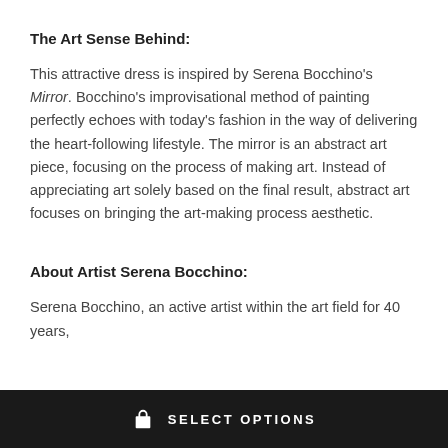The Art Sense Behind:
This attractive dress is inspired by Serena Bocchino's Mirror. Bocchino's improvisational method of painting perfectly echoes with today's fashion in the way of delivering the heart-following lifestyle. The mirror is an abstract art piece, focusing on the process of making art. Instead of appreciating art solely based on the final result, abstract art focuses on bringing the art-making process aesthetic.
About Artist Serena Bocchino:
Serena Bocchino, an active artist within the art field for 40 years,
SELECT OPTIONS